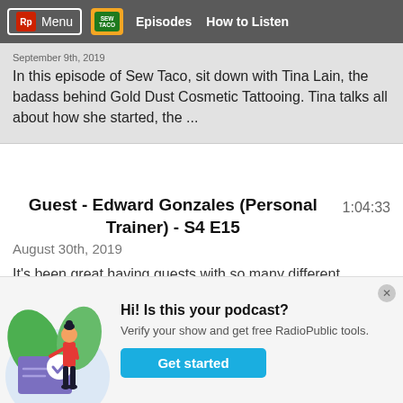Menu | Sew Taco | Episodes | How to Listen
In this episode of Sew Taco, sit down with Tina Lain, the badass behind Gold Dust Cosmetic Tattooing. Tina talks all about how she started, the ...
Guest - Edward Gonzales (Personal Trainer) - S4 E15
1:04:33
August 30th, 2019
It's been great having guests with so many different backgrounds. This one is an important one as it benefits your overall wellbeing, which then makes you more productive, happy, creative, etc. Fitness doesn't mean ...
[Figure (illustration): Illustration of a woman standing next to a large envelope with a checkmark, with green leaves in the background, used to promote podcast verification.]
Hi! Is this your podcast?
Verify your show and get free RadioPublic tools.
Get started